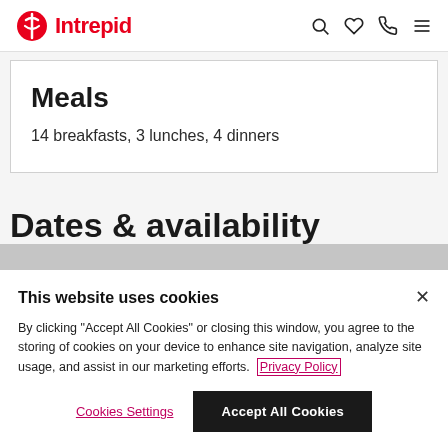Intrepid
Meals
14 breakfasts, 3 lunches, 4 dinners
Dates & availability
This website uses cookies
By clicking "Accept All Cookies" or closing this window, you agree to the storing of cookies on your device to enhance site navigation, analyze site usage, and assist in our marketing efforts. Privacy Policy
Cookies Settings | Accept All Cookies